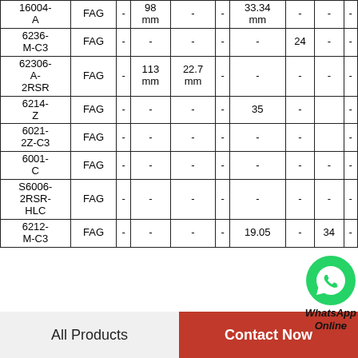| Part No. | Brand | Col3 | Col4 | Col5 | Col6 | Col7 | Col8 | Col9 | Col10 |
| --- | --- | --- | --- | --- | --- | --- | --- | --- | --- |
| 16004-A | FAG | - | 98 mm | - | - | 33.34 mm | - | - | - |
| 6236-M-C3 | FAG | - | - | - | - | - | 24 | - | - |
| 62306-A-2RSR | FAG | - | 113 mm | 22.7 mm | - | - | - | - | - |
| 6214-Z | FAG | - | - | - | - | 35 | - | - | - |
| 6021-2Z-C3 | FAG | - | - | - | - | - | - | - | - |
| 6001-C | FAG | - | - | - | - | - | - | - | - |
| S6006-2RSR-HLC | FAG | - | - | - | - | - | - | - | - |
| 6212-M-C3 | FAG | - | - | - | - | 19.05 | - | 34 | - |
[Figure (logo): WhatsApp Online green icon with text]
All Products
Contact Now